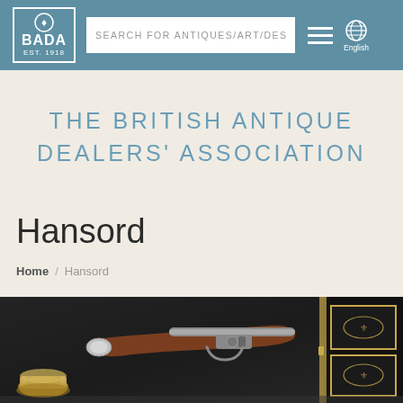BADA EST. 1918 | SEARCH FOR ANTIQUES/ART/DESI | English
THE BRITISH ANTIQUE DEALERS' ASSOCIATION
Hansord
Home / Hansord
[Figure (photo): Antique flintlock pistol displayed on an ornate black cabinet with gold decorative elements, alongside small brass items on a dark marble surface.]